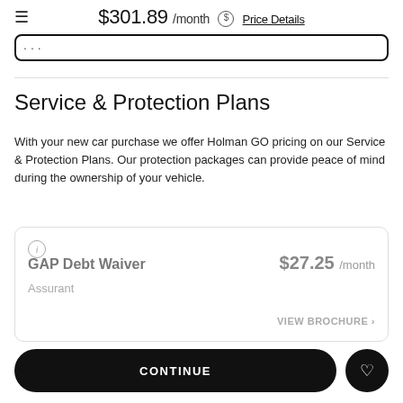$301.89 /month  Price Details
...
Service & Protection Plans
With your new car purchase we offer Holman GO pricing on our Service & Protection Plans. Our protection packages can provide peace of mind during the ownership of your vehicle.
GAP Debt Waiver  Assurant  $27.25 /month  VIEW BROCHURE
CONTINUE